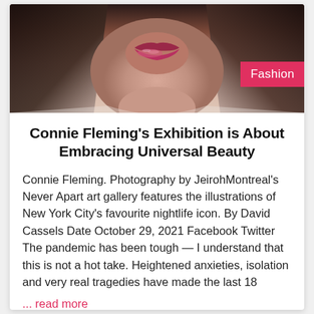[Figure (photo): Close-up photo of a person's face with glossy pink-red lips and long hair, partially cropped]
Connie Fleming's Exhibition is About Embracing Universal Beauty
Connie Fleming. Photography by JeirohMontreal's Never Apart art gallery features the illustrations of New York City's favourite nightlife icon. By David Cassels Date October 29, 2021 Facebook Twitter The pandemic has been tough — I understand that this is not a hot take. Heightened anxieties, isolation and very real tragedies have made the last 18
... read more